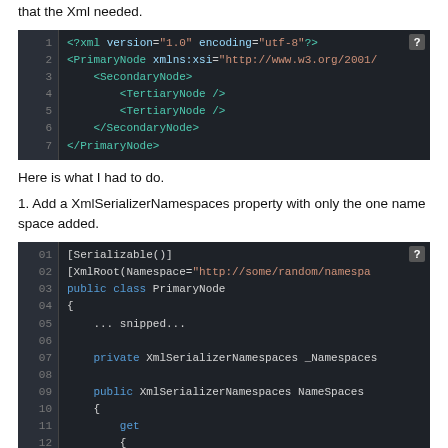that the Xml needed.
[Figure (screenshot): Code block showing XML with PrimaryNode, SecondaryNode, TertiaryNode elements, lines 1-7]
Here is what I had to do.
1. Add a XmlSerializerNamespaces property with only the one name space added.
[Figure (screenshot): Code block showing C# class with [Serializable], [XmlRoot], public class PrimaryNode, XmlSerializerNamespaces property, lines 01-21]